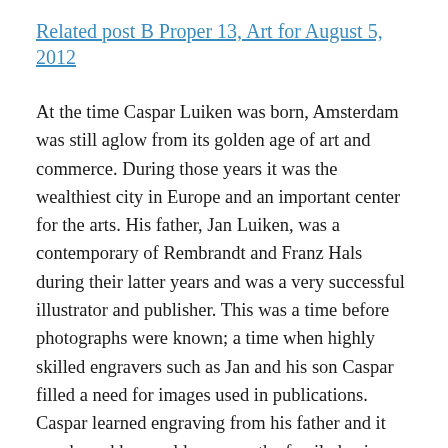Related post B Proper 13, Art for August 5, 2012
At the time Caspar Luiken was born, Amsterdam was still aglow from its golden age of art and commerce. During those years it was the wealthiest city in Europe and an important center for the arts. His father, Jan Luiken, was a contemporary of Rembrandt and Franz Hals during their latter years and was a very successful illustrator and publisher. This was a time before photographs were known; a time when highly skilled engravers such as Jan and his son Caspar filled a need for images used in publications. Caspar learned engraving from his father and it was hoped he would carry on the family business but after working with him